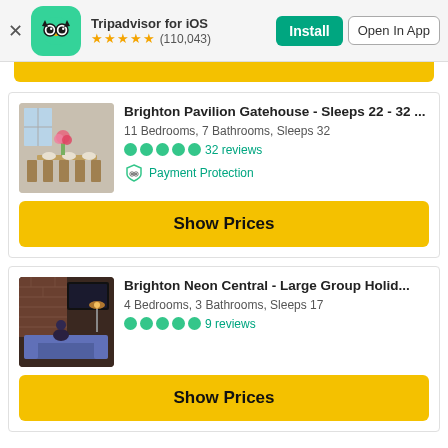Tripadvisor for iOS ★★★★½ (110,043) Install Open In App
Brighton Pavilion Gatehouse - Sleeps 22 - 32 ...
11 Bedrooms, 7 Bathrooms, Sleeps 32
●●●●● 32 reviews
Payment Protection
Show Prices
Brighton Neon Central - Large Group Holid...
4 Bedrooms, 3 Bathrooms, Sleeps 17
●●●●● 9 reviews
Show Prices